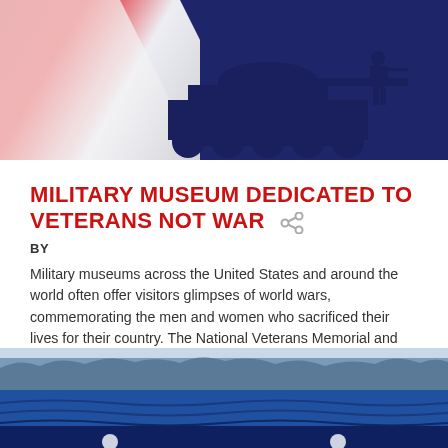[Figure (illustration): Military-themed banner image with American flag stripes in red and white on the left, and dark navy blue background with silhouettes of a tank and a soldier on the right]
MILITARY MUSEUM DEDICATED TO VETERANS NOT WAR
BY
Military museums across the United States and around the world often offer visitors glimpses of world wars, commemorating the men and women who sacrificed their lives for their country. The National Veterans Memorial and Museum has a broader goal: to represent veterans — not just war. War stories are present, of course, but they aren't [...]
more
[Figure (photo): Blue waterscape or ocean scene with dark blue water and distant blue-green treeline or land mass on the horizon]